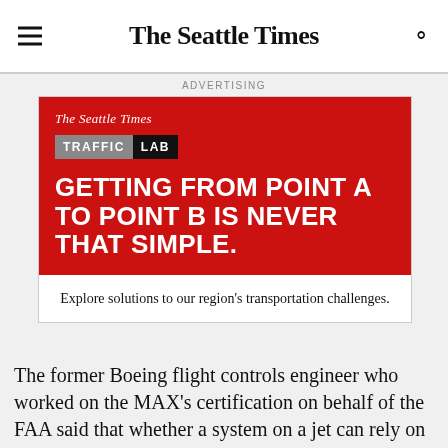The Seattle Times
ADVERTISING
[Figure (illustration): The Seattle Times Traffic Lab advertisement. Red background with white text reading: GETTING FROM POINT A TO POINT B IS NEVER THAT SIMPLE. White bottom section reads: Explore solutions to our region's transportation challenges.]
The former Boeing flight controls engineer who worked on the MAX's certification on behalf of the FAA said that whether a system on a jet can rely on